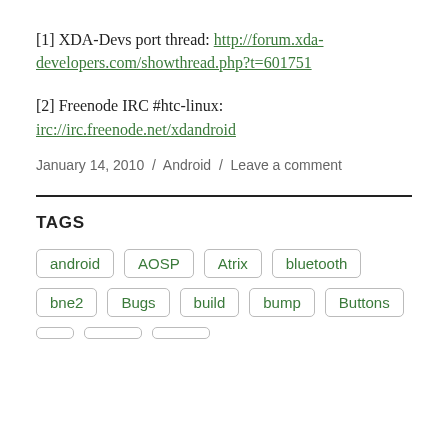[1] XDA-Devs port thread: http://forum.xda-developers.com/showthread.php?t=601751
[2] Freenode IRC #htc-linux: irc://irc.freenode.net/xdandroid
January 14, 2010 / Android / Leave a comment
TAGS
android
AOSP
Atrix
bluetooth
bne2
Bugs
build
bump
Buttons